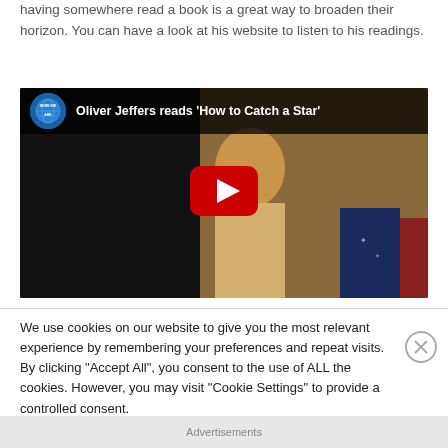having somewhere read a book is a great way to broaden their horizon. You can have a look at his website to listen to his readings.
[Figure (screenshot): YouTube video thumbnail showing Oliver Jeffers reads 'How to Catch a Star' with a play button overlay. Channel icon shows 'HERE WE ARE' globe logo.]
We use cookies on our website to give you the most relevant experience by remembering your preferences and repeat visits. By clicking “Accept All”, you consent to the use of ALL the cookies. However, you may visit "Cookie Settings" to provide a controlled consent.
Advertisements